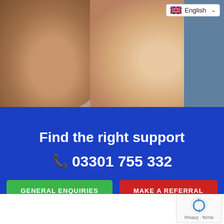[Figure (photo): Two people smiling closely together. On the left is a man with dark skin, on the right is a woman with lighter skin wearing a patterned blue and white garment. A language selector badge showing the UK flag and 'English' with a dropdown chevron is visible in the top-right corner.]
Find the right support
📞 03301 755 332
GENERAL ENQUIRIES
MAKE A REFERRAL